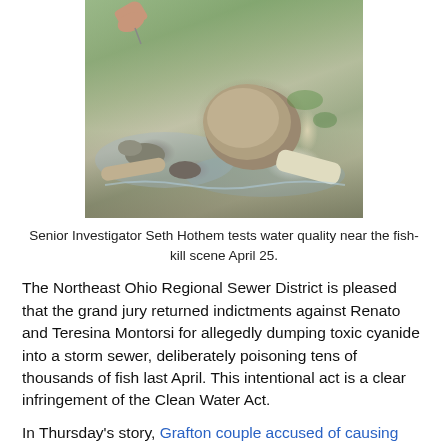[Figure (photo): Photo of rocky stream bed with a large boulder and logs. A hand is visible pointing at the water. Scene near a fish-kill site.]
Senior Investigator Seth Hothem tests water quality near the fish-kill scene April 25.
The Northeast Ohio Regional Sewer District is pleased that the grand jury returned indictments against Renato and Teresina Montorsi for allegedly dumping toxic cyanide into a storm sewer, deliberately poisoning tens of thousands of fish last April. This intentional act is a clear infringement of the Clean Water Act.
In Thursday's story, Grafton couple accused of causing fish kill, the good work performed by local, state and federal